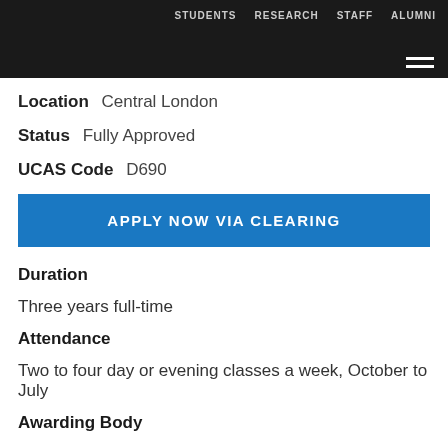STUDENTS  RESEARCH  STAFF  ALUMNI
Location   Central London
Status   Fully Approved
UCAS Code   D690
APPLY NOW VIA CLEARING
Duration
Three years full-time
Attendance
Two to four day or evening classes a week, October to July
Awarding Body
University of London